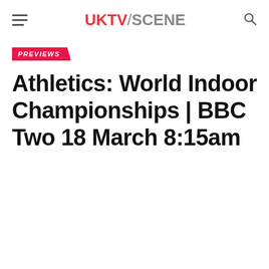UKTV/SCENE
PREVIEWS
Athletics: World Indoor Championships | BBC Two 18 March 8:15am